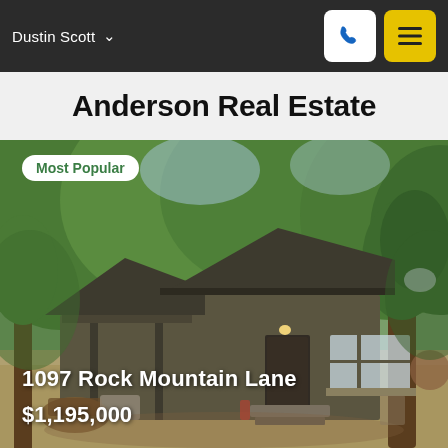Dustin Scott
Anderson Real Estate
[Figure (photo): Exterior photo of a small dark olive/brown cabin with a covered front porch, large window, surrounded by dense green trees. A 'Most Popular' badge overlay appears in the top-left corner.]
1097 Rock Mountain Lane
$1,195,000